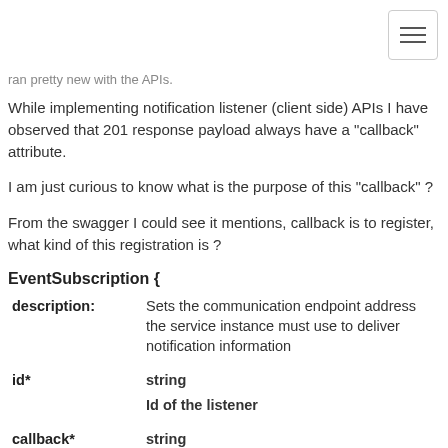ran pretty new with the APIs.
While implementing notification listener (client side) APIs I have observed that 201 response payload always have a "callback" attribute.
I am just curious to know what is the purpose of this "callback" ?
From the swagger I could see it mentions, callback is to register, what kind of this registration is ?
EventSubscription {
| Field | Type / Description |
| --- | --- |
| description: | Sets the communication endpoint address the service instance must use to deliver notification information |
| id* | string
Id of the listener |
| callback* | string
The callback being registered. |
| query | string |